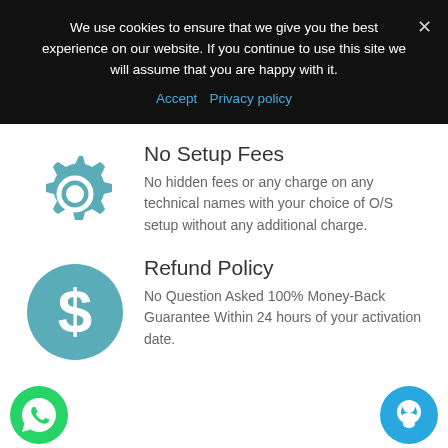We use cookies to ensure that we give you the best experience on our website. If you continue to use this site we will assume that you are happy with it.
Accept  Privacy policy
No Setup Fees
No hidden fees or any charge on any technical names with your choice of O/S setup without any additional charge.
Refund Policy
No Question Asked 100% Money-Back Guarantee Within 24 hours of your activation date.